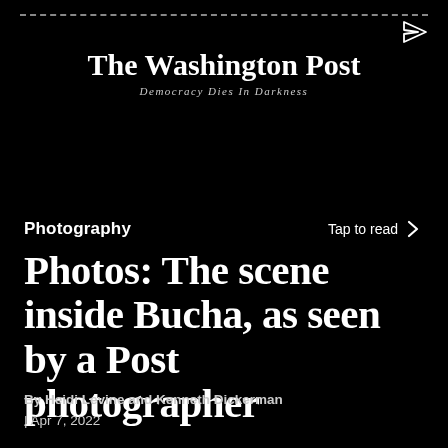[Figure (logo): The Washington Post masthead logo with blackletter font and tagline 'Democracy Dies In Darkness']
Photography
Tap to read
Photos: The scene inside Bucha, as seen by a Post photographer
By Heidi Levine and Kenneth Dickerman | Apr 7, 2022